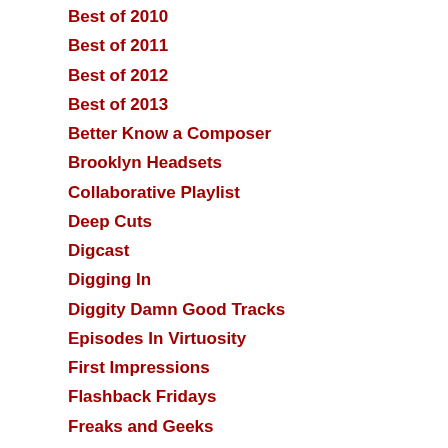Best of 2010
Best of 2011
Best of 2012
Best of 2013
Better Know a Composer
Brooklyn Headsets
Collaborative Playlist
Deep Cuts
Digcast
Digging In
Diggity Damn Good Tracks
Episodes In Virtuosity
First Impressions
Flashback Fridays
Freaks and Geeks
Gigs We Dig
Guests of the Dig
Holler Back!
Interviews